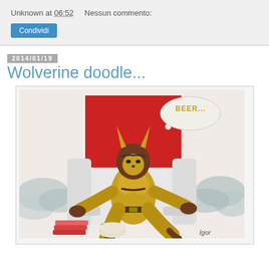Unknown at 06:52    Nessun commento:
Condividi
2014/01/19
Wolverine doodle...
[Figure (illustration): Illustration of Wolverine character in yellow costume sitting relaxed on a white armchair, with a red rectangular background behind him, a thought bubble saying 'BEER...' in yellow text, items scattered on the floor including a toilet paper roll and magazines, artist signature 'Igor' in bottom right.]